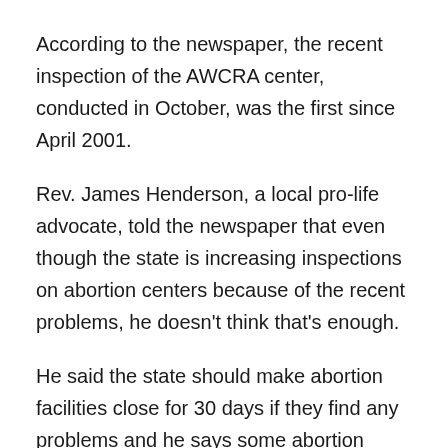According to the newspaper, the recent inspection of the AWCRA center, conducted in October, was the first since April 2001.
Rev. James Henderson, a local pro-life advocate, told the newspaper that even though the state is increasing inspections on abortion centers because of the recent problems, he doesn't think that's enough.
He said the state should make abortion facilities close for 30 days if they find any problems and he says some abortion practitioners who do a small number of abortions are not required to be licensed by the state.